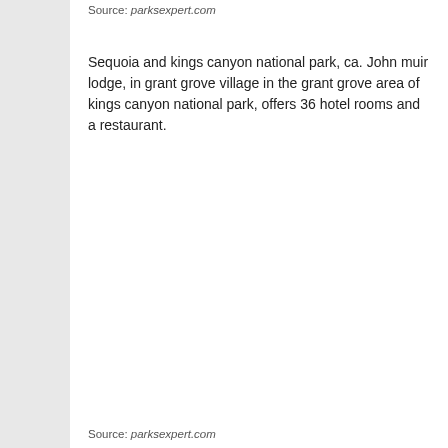Source: parksexpert.com
Sequoia and kings canyon national park, ca. John muir lodge, in grant grove village in the grant grove area of kings canyon national park, offers 36 hotel rooms and a restaurant.
Source: parksexpert.com